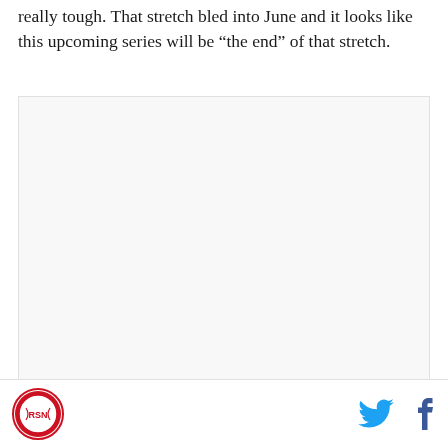really tough. That stretch bled into June and it looks like this upcoming series will be “the end” of that stretch.
[Figure (other): Advertisement placeholder block]
Well, when the Mets came to town in the beginning of
Logo icon, Twitter icon, Facebook icon